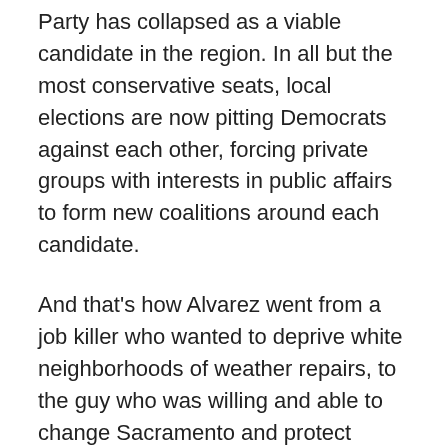Party has collapsed as a viable candidate in the region. In all but the most conservative seats, local elections are now pitting Democrats against each other, forcing private groups with interests in public affairs to form new coalitions around each candidate.
And that's how Alvarez went from a job killer who wanted to deprive white neighborhoods of weather repairs, to the guy who was willing and able to change Sacramento and protect brown neighborhoods from crime.
The race between Alvarez and former councilor Georgette Gómez may offer a foretaste of the upcoming democratic races. As Democrats increasingly pitted against other Democrats, the factions that used to organize across the political spectrum could instead rally around candidates who in the not-so-distant past used to seem alike,